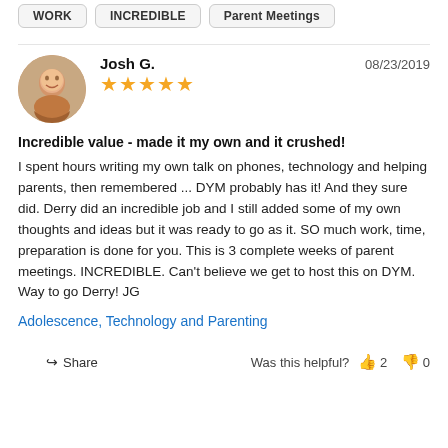WORK
INCREDIBLE
Parent Meetings
Josh G.
08/23/2019
[Figure (other): 5 gold stars rating]
Incredible value - made it my own and it crushed! I spent hours writing my own talk on phones, technology and helping parents, then remembered ... DYM probably has it! And they sure did. Derry did an incredible job and I still added some of my own thoughts and ideas but it was ready to go as it. SO much work, time, preparation is done for you. This is 3 complete weeks of parent meetings. INCREDIBLE. Can't believe we get to host this on DYM. Way to go Derry! JG
Adolescence, Technology and Parenting
Share  Was this helpful?  2  0